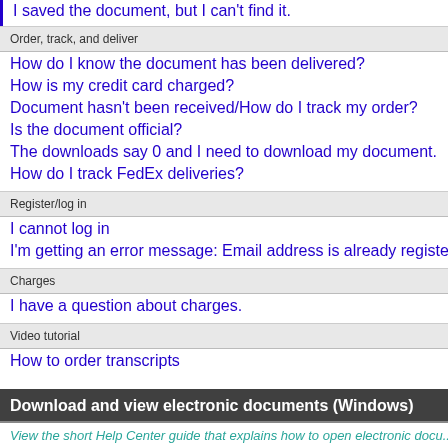I saved the document, but I can't find it.
Order, track, and deliver
How do I know the document has been delivered?
How is my credit card charged?
Document hasn't been received/How do I track my order?
Is the document official?
The downloads say 0 and I need to download my document.
How do I track FedEx deliveries?
Register/log in
I cannot log in
I'm getting an error message: Email address is already registere...
Charges
I have a question about charges.
Video tutorial
How to order transcripts
Download and view electronic documents (Windows)
View the short Help Center guide that explains how to open electronic docu...